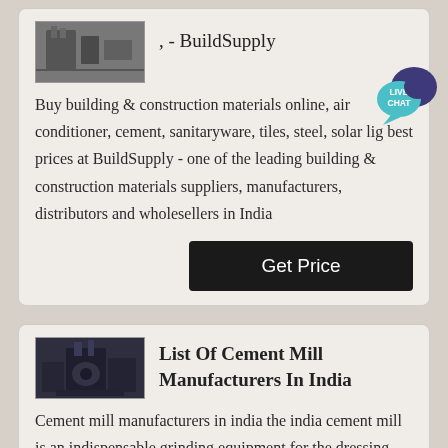[Figure (photo): Industrial/manufacturing equipment photo thumbnail]
, - BuildSupply
Buy building & construction materials online, air conditioner, cement, sanitaryware, tiles, steel, solar lig best prices at BuildSupply - one of the leading building & construction materials suppliers, manufacturers, distributors and wholesellers in India
[Figure (other): Live Chat bubble icon]
[Figure (photo): Cement mill industrial equipment photo thumbnail]
List Of Cement Mill Manufacturers In India
Cement mill manufacturers in india the india cement mill is an indispensable grinding equipment for the dressing plant, and it is also one of the equipments with a large proportion of investment in the construction of the plant ensuring the